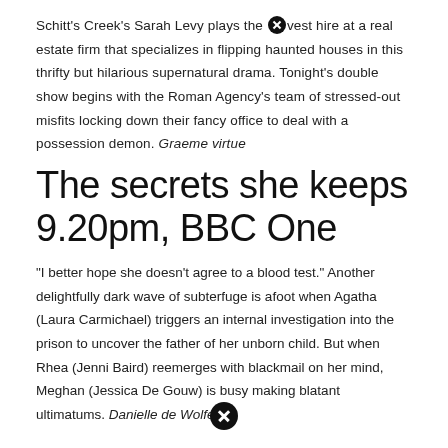Schitt's Creek's Sarah Levy plays the [x] vest hire at a real estate firm that specializes in flipping haunted houses in this thrifty but hilarious supernatural drama. Tonight's double show begins with the Roman Agency's team of stressed-out misfits locking down their fancy office to deal with a possession demon. Graeme virtue
The secrets she keeps
9.20pm, BBC One
"I better hope she doesn't agree to a blood test." Another delightfully dark wave of subterfuge is afoot when Agatha (Laura Carmichael) triggers an internal investigation into the prison to uncover the father of her unborn child. But when Rhea (Jenni Baird) reemerges with blackmail on her mind, Meghan (Jessica De Gouw) is busy making blatant ultimatums. Danielle de Wolfe